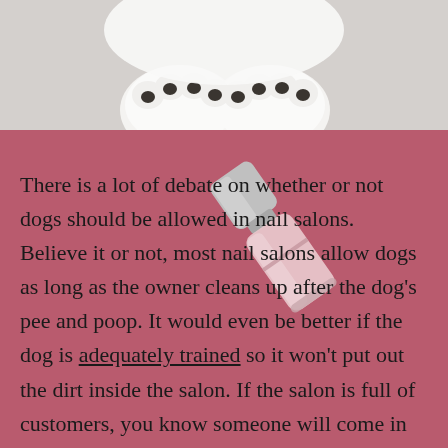[Figure (photo): White fluffy dog paws on a light gray background, viewed from above]
[Figure (photo): Nail polish bottle lying diagonally on a pink/mauve background]
There is a lot of debate on whether or not dogs should be allowed in nail salons. Believe it or not, most nail salons allow dogs as long as the owner cleans up after the dog's pee and poop. It would even be better if the dog is adequately trained so it won't put out the dirt inside the salon. If the salon is full of customers, you know someone will come in and clean the floor frequently. When that happens the person should also sweep the dog's hair if it is